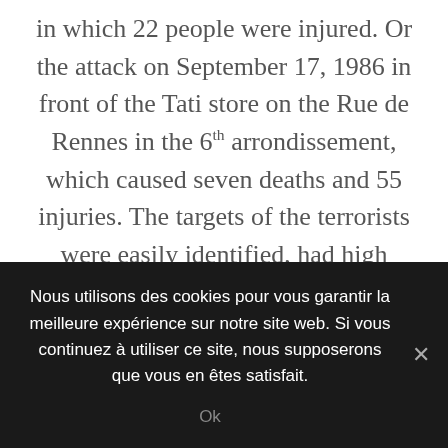in which 22 people were injured. Or the attack on September 17, 1986 in front of the Tati store on the Rue de Rennes in the 6th arrondissement, which caused seven deaths and 55 injuries. The targets of the terrorists were easily identified, had high symbolic value, and were particularly vulnerable. In the first years of the twenty-first century, political and institutional leaders realized that France would not be spared and that one day, terrorists would strike the capital once again. It wouldn't be the same terrorists, as the
Nous utilisons des cookies pour vous garantir la meilleure expérience sur notre site web. Si vous continuez à utiliser ce site, nous supposerons que vous en êtes satisfait.
Ok